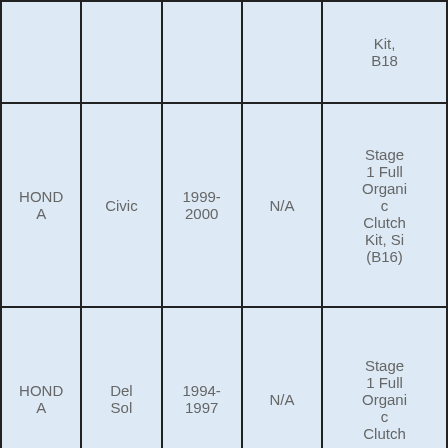| Make | Model | Year | Col4 | Product |
| --- | --- | --- | --- | --- |
|  |  |  |  | Kit, B18 |
| HONDA | Civic | 1999-2000 | N/A | Stage 1 Full Organic Clutch Kit, Si (B16) |
| HONDA | Del Sol | 1994-1997 | N/A | Stage 1 Full Organic Clutch |